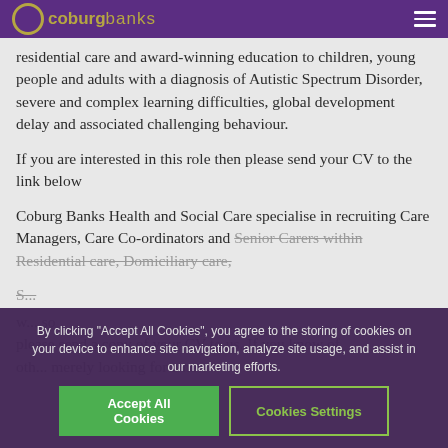Coburg Banks
residential care and award-winning education to children, young people and adults with a diagnosis of Autistic Spectrum Disorder, severe and complex learning difficulties, global development delay and associated challenging behaviour.
If you are interested in this role then please send your CV to the link below
Coburg Banks Health and Social Care specialise in recruiting Care Managers, Care Co-ordinators and Senior Carers within Residential care, Domiciliary care,
S... would we... so please send a copy of your CV to us. If you know of oth... merely looking for a new
By clicking "Accept All Cookies", you agree to the storing of cookies on your device to enhance site navigation, analyze site usage, and assist in our marketing efforts.
Accept All Cookies
Cookies Settings